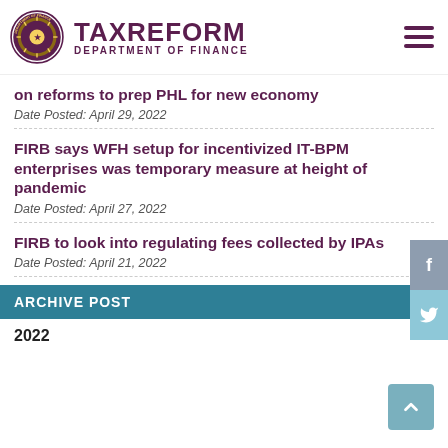TAXREFORM DEPARTMENT OF FINANCE
on reforms to prep PHL for new economy
Date Posted: April 29, 2022
FIRB says WFH setup for incentivized IT-BPM enterprises was temporary measure at height of pandemic
Date Posted: April 27, 2022
FIRB to look into regulating fees collected by IPAs
Date Posted: April 21, 2022
ARCHIVE POST
2022